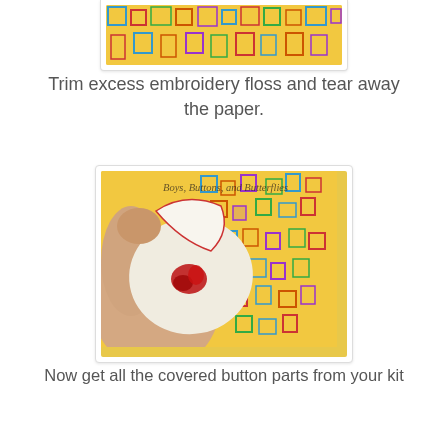[Figure (photo): Top portion of a photo showing colorful geometric patterned fabric background, partially cropped]
Trim excess embroidery floss and tear away the paper.
[Figure (photo): Close-up photo of a hand holding a circular white fabric piece with red embroidery stitches, being peeled away from paper backing. Colorful geometric patterned fabric in background. Watermark reads 'Boys, Buttons, and Butterflies']
Now get all the covered button parts from your kit